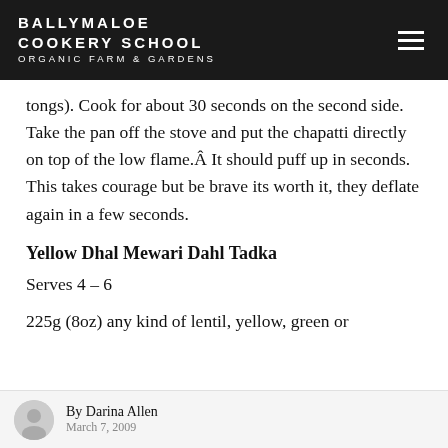BALLYMALOE COOKERY SCHOOL ORGANIC FARM & GARDENS
tongs). Cook for about 30 seconds on the second side. Take the pan off the stove and put the chapatti directly on top of the low flame.Â It should puff up in seconds. This takes courage but be brave its worth it, they deflate again in a few seconds.
Yellow Dhal Mewari Dahl Tadka
Serves 4 – 6
225g (8oz) any kind of lentil, yellow, green or
By Darina Allen
March 7, 2009